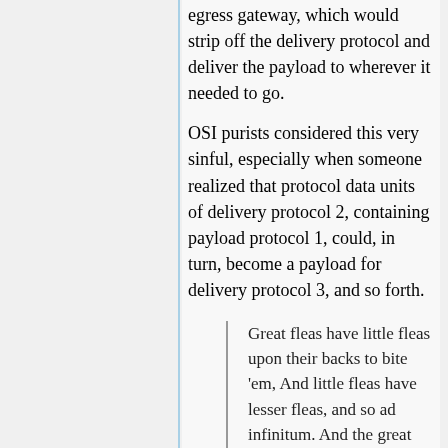egress gateway, which would strip off the delivery protocol and deliver the payload to wherever it needed to go.
OSI purists considered this very sinful, especially when someone realized that protocol data units of delivery protocol 2, containing payload protocol 1, could, in turn, become a payload for delivery protocol 3, and so forth.
Great fleas have little fleas upon their backs to bite 'em, And little fleas have lesser fleas, and so ad infinitum. And the great fleas themselves, in